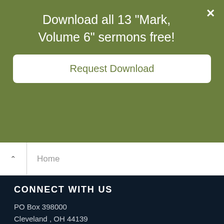Download all 13 "Mark, Volume 6" sermons free!
Request Download
Home
CONNECT WITH US
PO Box 398000
Cleveland , OH 44139
By Phone ☎ 888-588-7884
Get in Touch ✏
Need Help? ⛔
Radio Station Finder 📍